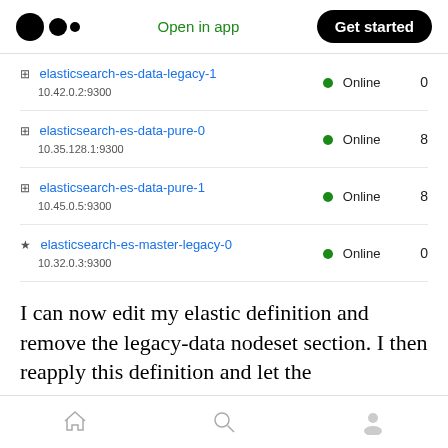Open in app | Get started
| Node | Status | Count |
| --- | --- | --- |
| elasticsearch-es-data-legacy-1
10.42.0.2:9300 | Online | 0 |
| elasticsearch-es-data-pure-0
10.35.128.1:9300 | Online | 8 |
| elasticsearch-es-data-pure-1
10.45.0.5:9300 | Online | 8 |
| elasticsearch-es-master-legacy-0
10.32.0.3:9300 | Online | 0 |
I can now edit my elastic definition and remove the legacy-data nodeset section. I then reapply this definition and let the Elasticsearch operator scale down these data nodes.
Home | Search | Profile